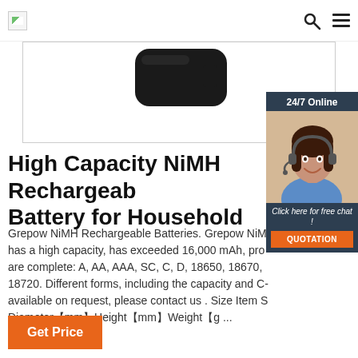[Figure (photo): Black NiMH rechargeable battery on white background with app navigation bar showing search and menu icons and a small logo top left]
[Figure (photo): 24/7 Online chat widget showing a smiling woman with headset, text 'Click here for free chat!' and an orange QUOTATION button]
High Capacity NiMH Rechargeable Battery for Household
Grepow NiMH Rechargeable Batteries. Grepow NiMH has a high capacity, has exceeded 16,000 mAh, products are complete: A, AA, AAA, SC, C, D, 18650, 18670, 18720. Different forms, including the capacity and C- available on request, please contact us . Size Item S... Diameter【mm】 Height【mm】 Weight【g ...
Get Price